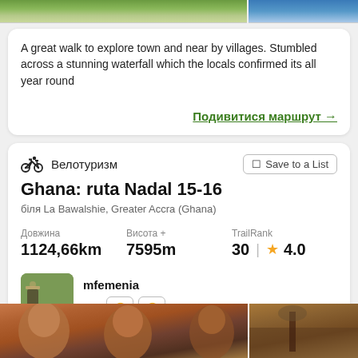[Figure (photo): Top image strip showing nature/waterfall scene (left) and water/river scene (right)]
A great walk to explore town and near by villages. Stumbled across a stunning waterfall which the locals confirmed its all year round
Подивитися маршрут →
[Figure (illustration): Cycling/bicycle icon]
Велотуризм
Save to a List
Ghana: ruta Nadal 15-16
біля La Bawalshie, Greater Accra (Ghana)
Довжина
1124,66km
Висота +
7595m
TrailRank
30 ★ 4.0
[Figure (photo): User avatar photo showing person near a sign outdoors]
mfemenia
with 😐 😐
[Figure (photo): Bottom image strip showing African children faces (left/center) and outdoor trail scene (right)]